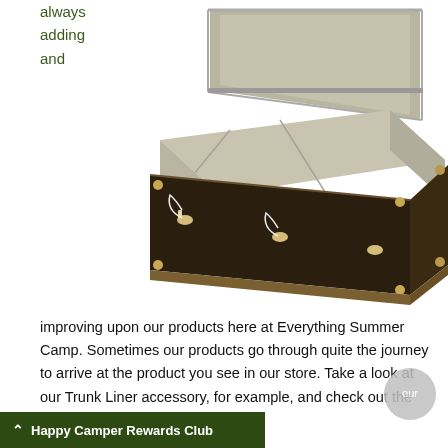always
adding
and
[Figure (photo): An open camp trunk/chest with a carpeted interior tray insert shown pulled out slightly, revealing divided compartments. The trunk exterior is dark brown with metal hardware and clasps.]
improving upon our products here at Everything Summer Camp. Sometimes our products go through quite the journey to arrive at the product you see in our store. Take a look at our Trunk Liner accessory, for example, and check out the particular product:
Happy Camper Rewards Club